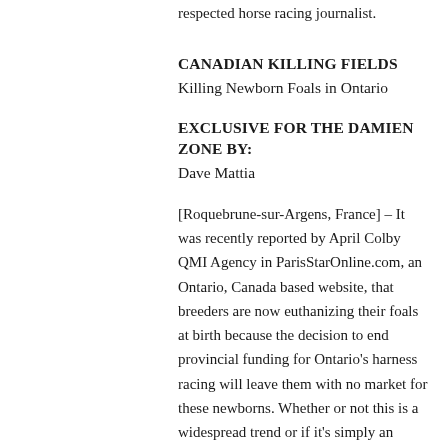respected horse racing journalist.
CANADIAN KILLING FIELDS
Killing Newborn Foals in Ontario
EXCLUSIVE FOR THE DAMIEN ZONE BY:
Dave Mattia
[Roquebrune-sur-Argens, France] – It was recently reported by April Colby QMI Agency in ParisStarOnline.com, an Ontario, Canada based website, that breeders are now euthanizing their foals at birth because the decision to end provincial funding for Ontario's harness racing will leave them with no market for these newborns. Whether or not this is a widespread trend or if it's simply an isolated incident that has grown gossipy wings and isn't true at all, has yet to be determined, but if foals are indeed being disposed of at birth simply because